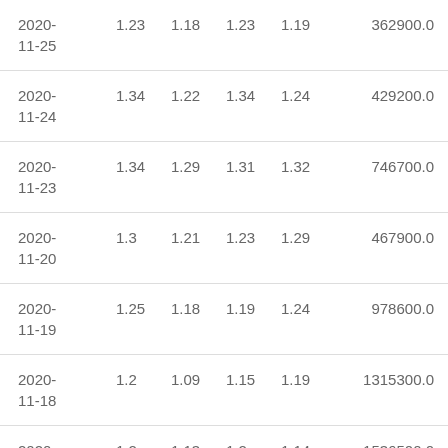| 2020-11-25 | 1.23 | 1.18 | 1.23 | 1.19 | 362900.0 |
| 2020-11-24 | 1.34 | 1.22 | 1.34 | 1.24 | 429200.0 |
| 2020-11-23 | 1.34 | 1.29 | 1.31 | 1.32 | 746700.0 |
| 2020-11-20 | 1.3 | 1.21 | 1.23 | 1.29 | 467900.0 |
| 2020-11-19 | 1.25 | 1.18 | 1.19 | 1.24 | 978600.0 |
| 2020-11-18 | 1.2 | 1.09 | 1.15 | 1.19 | 1315300.0 |
| 2020-11-17 | 1.2 | 1.13 | 1.2 | 1.14 | 1536500.0 |